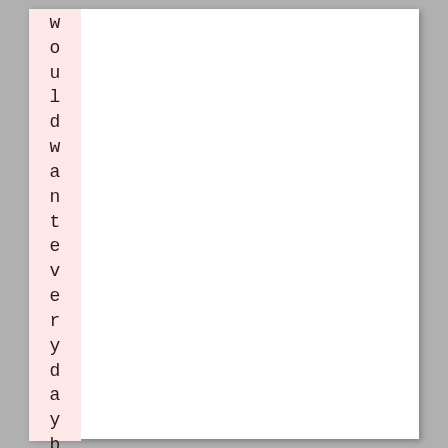would want every day but maybe